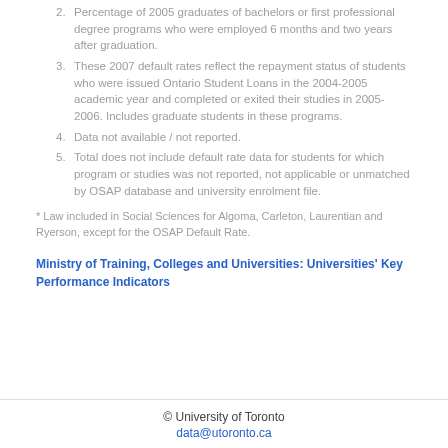2. Percentage of 2005 graduates of bachelors or first professional degree programs who were employed 6 months and two years after graduation.
3. These 2007 default rates reflect the repayment status of students who were issued Ontario Student Loans in the 2004-2005 academic year and completed or exited their studies in 2005-2006. Includes graduate students in these programs.
4. Data not available / not reported.
5. Total does not include default rate data for students for which program or studies was not reported, not applicable or unmatched by OSAP database and university enrolment file.
* Law included in Social Sciences for Algoma, Carleton, Laurentian and Ryerson, except for the OSAP Default Rate.
Ministry of Training, Colleges and Universities: Universities' Key Performance Indicators
© University of Toronto
data@utoronto.ca